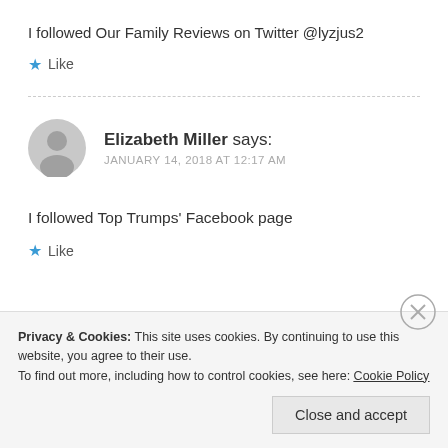I followed Our Family Reviews on Twitter @lyzjus2
★ Like
Elizabeth Miller says:
JANUARY 14, 2018 AT 12:17 AM
I followed Top Trumps' Facebook page
★ Like
Privacy & Cookies: This site uses cookies. By continuing to use this website, you agree to their use.
To find out more, including how to control cookies, see here: Cookie Policy
Close and accept